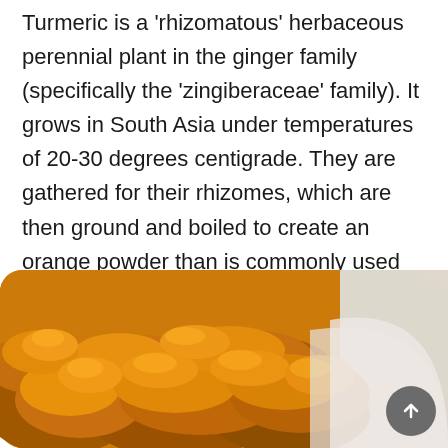Turmeric is a 'rhizomatous' herbaceous perennial plant in the ginger family (specifically the 'zingiberaceae' family). It grows in South Asia under temperatures of 20-30 degrees centigrade. They are gathered for their rhizomes, which are then ground and boiled to create an orange powder than is commonly used as a spice in curries as well as for dyeing foods such as mustard. It is considered the 'Indian Saffron' and makes a cheaper alternative to 'normal' saffron.
[Figure (photo): Close-up photo of golden-orange turmeric powder, partially on a white surface, with rounded piled texture visible.]